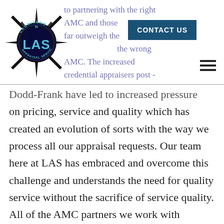[Figure (logo): Lauritano Appraisal Services (LAS) logo — compass star design with 'LAS' in blue lettering]
to partnering with the right AMC and those far outweigh the wrong AMC. The increased credential appraisers post - Dodd-Frank have led to increased pressure on pricing, service and quality which has created an evolution of sorts with the way we process all our appraisal requests. Our team here at LAS has embraced and overcome this challenge and understands the need for quality service without the sacrifice of service quality. All of the AMC partners we work with appreciate the efforts of our entire team throughout the process and understand the